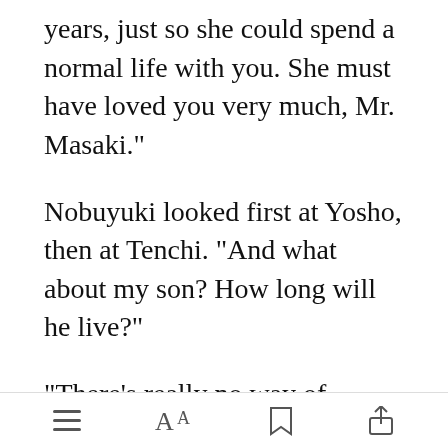years, just so she could spend a normal life with you. She must have loved you very much, Mr. Masaki."
Nobuyuki looked first at Yosho, then at Tenchi. "And what about my son? How long will he live?"
"There's really no way of knowing," Washu answered. "He's a tremendously [Open in app] ower adept.